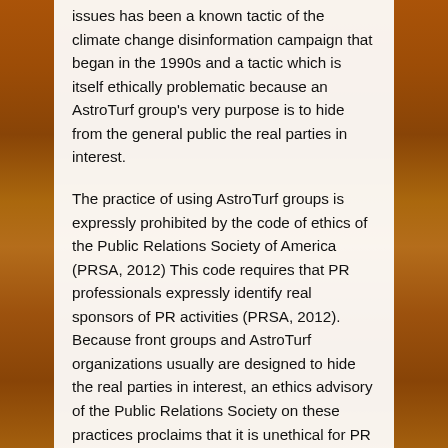issues has been a known tactic of the climate change disinformation campaign that began in the 1990s and a tactic which is itself ethically problematic because an AstroTurf group's very purpose is to hide from the general public the real parties in interest.
The practice of using AstroTurf groups is expressly prohibited by the code of ethics of the Public Relations Society of America (PRSA, 2012) This code requires that PR professionals expressly identify real sponsors of PR activities (PRSA, 2012). Because front groups and AstroTurf organizations usually are designed to hide the real parties in interest, an ethics advisory of the Public Relations Society on these practices proclaims that it is unethical for PR professionals to represent front groups and/or other deceptive or misleading descriptions of goals, tactics, sponsors, or participants. (PRSA advisory, 2012) This advisory specifically includes AstroTurf groups as an unethical front group activity covered by the ethics advisory. (PRSA advisory, 2012)
Defenders of the clean coal campaign will sometimes